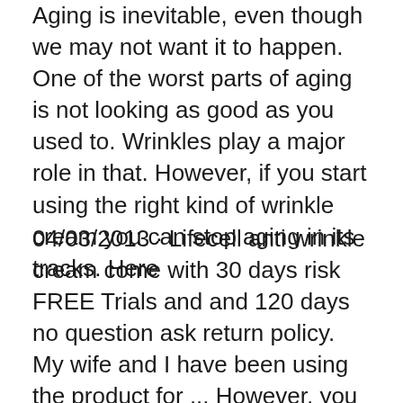Aging is inevitable, even though we may not want it to happen. One of the worst parts of aging is not looking as good as you used to. Wrinkles play a major role in that. However, if you start using the right kind of wrinkle cream you can stop aging in its tracks. Here
04/03/2013 · Lifecell anti wrinkle cream come with 30 days risk FREE Trials and and 120 days no question ask return policy. My wife and I have been using the product for ... However, you should note that this information is opinion only, based on our research and the current state of the anti-wrinkle cream market. You may find that the product